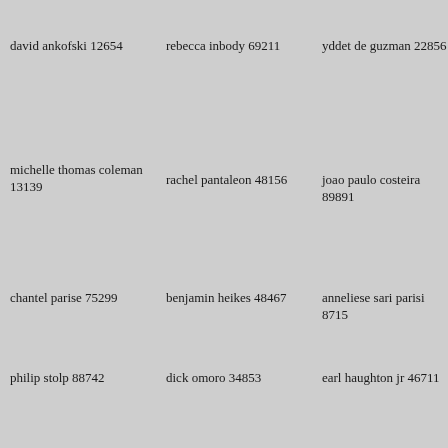david ankofski 12654
rebecca inbody 69211
yddet de guzman 22856
michelle thomas coleman 13139
rachel pantaleon 48156
joao paulo costeira 89891
chantel parise 75299
benjamin heikes 48467
anneliese sari parisi 8715
philip stolp 88742
dick omoro 34853
earl haughton jr 46711